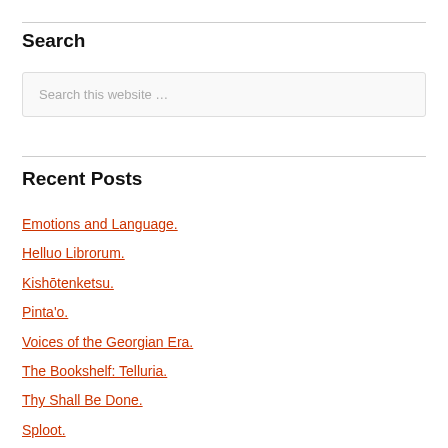Search
[Figure (screenshot): Search input box with placeholder text 'Search this website …']
Recent Posts
Emotions and Language.
Helluo Librorum.
Kishōtenketsu.
Pinta'o.
Voices of the Georgian Era.
The Bookshelf: Telluria.
Thy Shall Be Done.
Sploot.
Hatto Day.